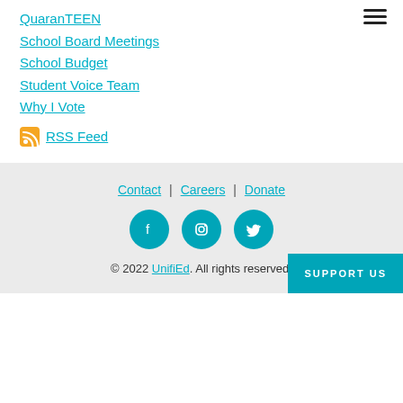[Figure (other): Hamburger menu icon (three horizontal lines) in top right corner]
QuaranTEEN
School Board Meetings
School Budget
Student Voice Team
Why I Vote
RSS Feed
Contact | Careers | Donate
[Figure (other): Three circular social media icons: Facebook, Instagram, Twitter — teal color]
© 2022 UnifiEd. All rights reserved.
SUPPORT US